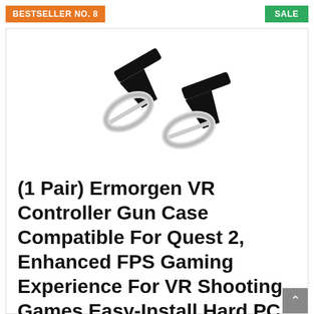BESTSELLER NO. 8
SALE
[Figure (photo): Two black and white VR controller gun case accessories for Quest 2, shown as a pair at an angle against white background]
(1 Pair) Ermorgen VR Controller Gun Case Compatible For Quest 2, Enhanced FPS Gaming Experience For VR Shooting Games Easy-Install Hard PC Shell Controller Cover -Black